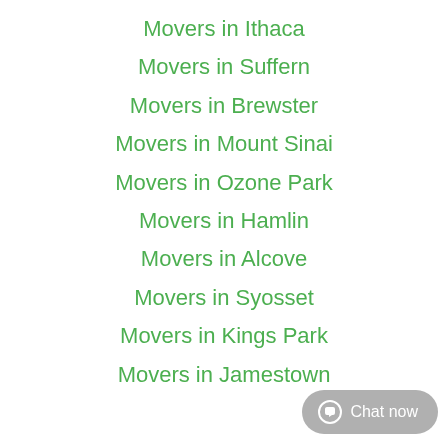Movers in Ithaca
Movers in Suffern
Movers in Brewster
Movers in Mount Sinai
Movers in Ozone Park
Movers in Hamlin
Movers in Alcove
Movers in Syosset
Movers in Kings Park
Movers in Jamestown